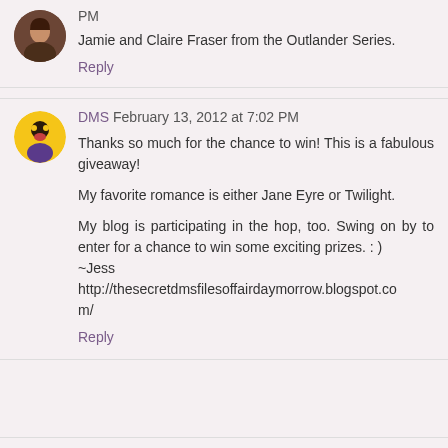PM
Jamie and Claire Fraser from the Outlander Series.
Reply
DMS February 13, 2012 at 7:02 PM
Thanks so much for the chance to win! This is a fabulous giveaway!
My favorite romance is either Jane Eyre or Twilight.
My blog is participating in the hop, too. Swing on by to enter for a chance to win some exciting prizes. : )
~Jess
http://thesecretdmsfilesoffairdaymorrow.blogspot.com/
Reply